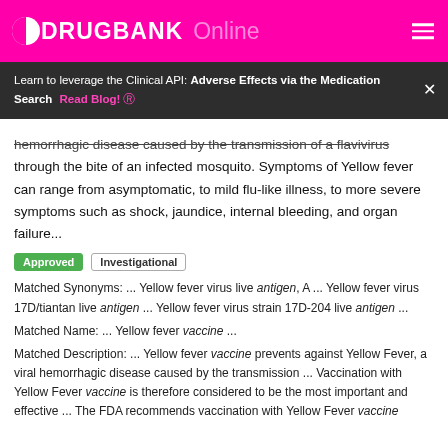DRUGBANK Online
Learn to leverage the Clinical API: Adverse Effects via the Medication Search  Read Blog! >
hemorrhagic disease caused by the transmission of a flavivirus through the bite of an infected mosquito. Symptoms of Yellow fever can range from asymptomatic, to mild flu-like illness, to more severe symptoms such as shock, jaundice, internal bleeding, and organ failure...
Approved  Investigational
Matched Synonyms: ... Yellow fever virus live antigen, A ... Yellow fever virus 17D/tiantan live antigen ... Yellow fever virus strain 17D-204 live antigen ...
Matched Name: ... Yellow fever vaccine ...
Matched Description: ... Yellow fever vaccine prevents against Yellow Fever, a viral hemorrhagic disease caused by the transmission ... Vaccination with Yellow Fever vaccine is therefore considered to be the most important and effective ... The FDA recommends vaccination with Yellow Fever vaccine